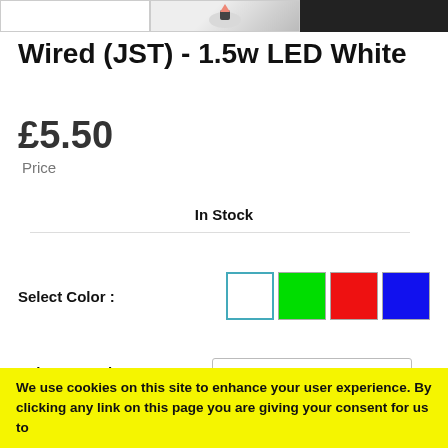[Figure (photo): Product image strip showing three panels: a white background panel, a hand holding a small LED component, and a dark black panel]
Wired (JST) - 1.5w LED White
£5.50
Price
In Stock
Select Color :
Select a product : Wired (JST) - 1.5w LED White
Enter Quantity : 1
We use cookies on this site to enhance your user experience. By clicking any link on this page you are giving your consent for us to